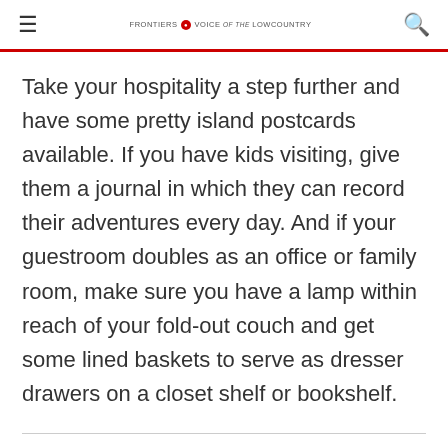FRONTIERS VOICE of the LOWCOUNTRY
Take your hospitality a step further and have some pretty island postcards available. If you have kids visiting, give them a journal in which they can record their adventures every day. And if your guestroom doubles as an office or family room, make sure you have a lamp within reach of your fold-out couch and get some lined baskets to serve as dresser drawers on a closet shelf or bookshelf.